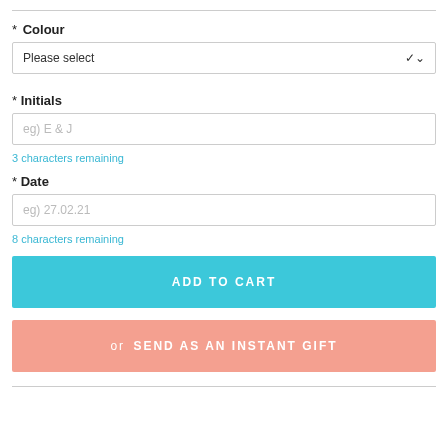* Colour
[Figure (screenshot): Dropdown select box with 'Please select' placeholder and chevron arrow]
* Initials
[Figure (screenshot): Text input field with placeholder 'eg) E & J']
3 characters remaining
* Date
[Figure (screenshot): Text input field with placeholder 'eg) 27.02.21']
8 characters remaining
ADD TO CART
or SEND AS AN INSTANT GIFT